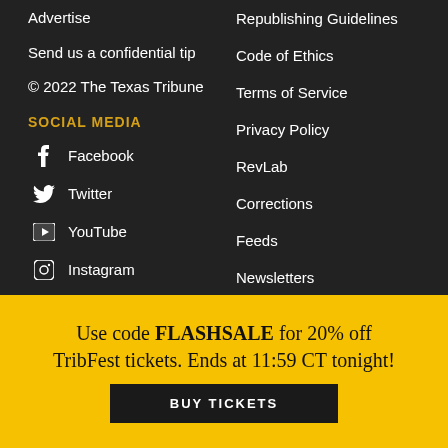Advertise
Send us a confidential tip
© 2022 The Texas Tribune
SOCIAL MEDIA
Facebook
Twitter
YouTube
Instagram
LinkedIn
Reddit
Republishing Guidelines
Code of Ethics
Terms of Service
Privacy Policy
RevLab
Corrections
Feeds
Newsletters
Audio
Video
Use code FLASHSALE for 20% off TribFest tickets. Ends at 11:59 CT tonight!
BUY TICKETS